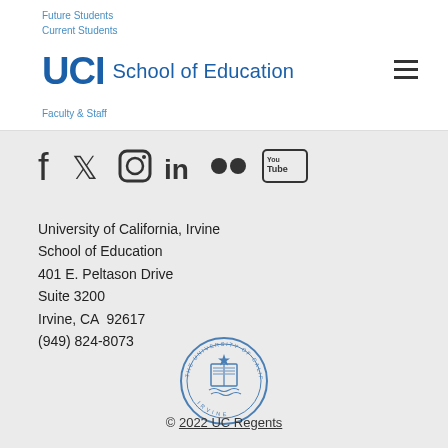Future Students | Current Students | Faculty & Staff | UCI School of Education
[Figure (logo): UCI School of Education logo with navigation links and hamburger menu]
[Figure (infographic): Social media icons row: Facebook, Twitter, Instagram, LinkedIn, Flickr, YouTube]
University of California, Irvine
School of Education
401 E. Peltason Drive
Suite 3200
Irvine, CA  92617
(949) 824-8073
[Figure (logo): University of California seal/emblem in blue]
© 2022 UC Regents